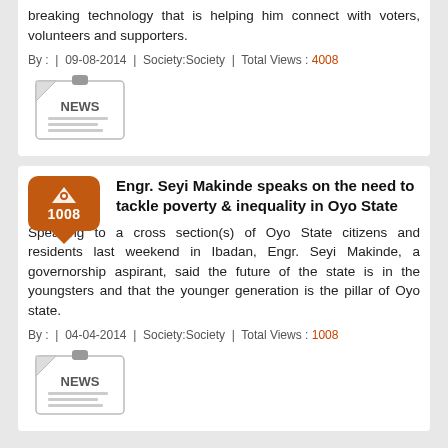breaking technology that is helping him connect with voters, volunteers and supporters.
By : | 09-08-2014 | Society:Society | Total Views : 4008
[Figure (illustration): Newspaper icon with 'NEWS' text]
Engr. Seyi Makinde speaks on the need to tackle poverty & inequality in Oyo State
Speaking to a cross section(s) of Oyo State citizens and residents last weekend in Ibadan, Engr. Seyi Makinde, a governorship aspirant, said the future of the state is in the youngsters and that the younger generation is the pillar of Oyo state.
By : | 04-04-2014 | Society:Society | Total Views : 1008
[Figure (illustration): Newspaper icon with 'NEWS' text]